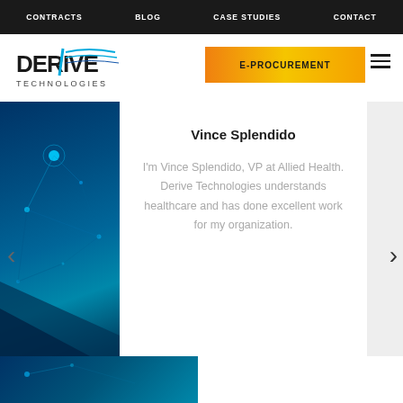CONTRACTS  BLOG  CASE STUDIES  CONTACT
[Figure (logo): Derive Technologies logo - stylized text with slash mark]
E-PROCUREMENT
[Figure (illustration): Blue technology network background image with glowing nodes and connections]
Vince Splendido
I'm Vince Splendido, VP at Allied Health. Derive Technologies understands healthcare and has done excellent work for my organization.